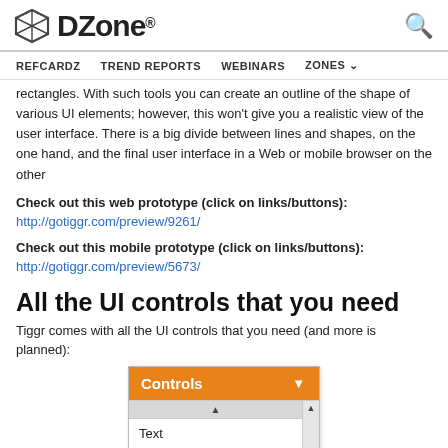DZone. | REFCARDZ  TREND REPORTS  WEBINARS  ZONES
rectangles. With such tools you can create an outline of the shape of various UI elements; however, this won't give you a realistic view of the user interface. There is a big divide between lines and shapes, on the one hand, and the final user interface in a Web or mobile browser on the other
Check out this web prototype (click on links/buttons):
http://gotiggr.com/preview/9261/
Check out this mobile prototype (click on links/buttons):
http://gotiggr.com/preview/5673/
All the UI controls that you need
Tiggr comes with all the UI controls that you need (and more is planned):
[Figure (screenshot): A UI controls widget/dropdown showing a header labeled 'Controls' with an orange background, a scrollbar on the right, and list items including 'Text' and 'Text input']